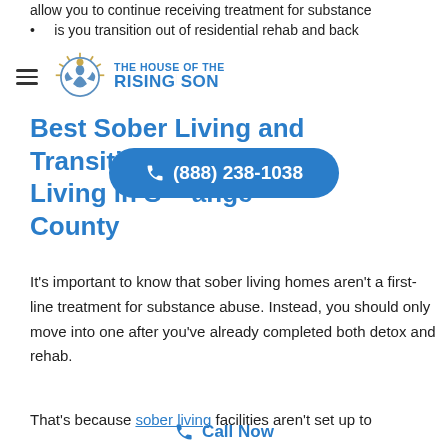allow you to continue receiving treatment for substance
is you transition out of residential rehab and back
e real world.
[Figure (logo): The House of the Rising Son logo with sun/hands icon and blue text]
Best Sober Living and Transitional Living in S...ange County
[Figure (other): Blue pill-shaped phone button showing (888) 238-1038]
It's important to know that sober living homes aren't a first-line treatment for substance abuse. Instead, you should only move into one after you've already completed both detox and rehab.
That's because sober living facilities aren't set up to
[Figure (other): Call Now button at bottom of page]